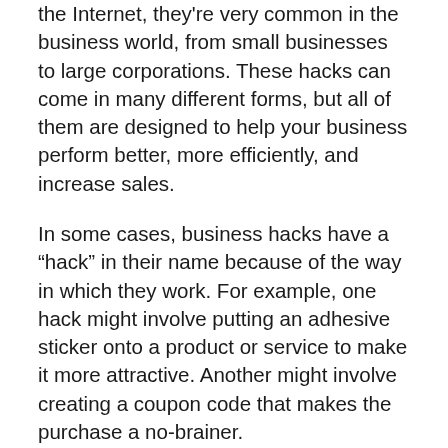the Internet, they're very common in the business world, from small businesses to large corporations. These hacks can come in many different forms, but all of them are designed to help your business perform better, more efficiently, and increase sales.
In some cases, business hacks have a “hack” in their name because of the way in which they work. For example, one hack might involve putting an adhesive sticker onto a product or service to make it more attractive. Another might involve creating a coupon code that makes the purchase a no-brainer.
Why Do Business Hacks Work?
the next line continues...